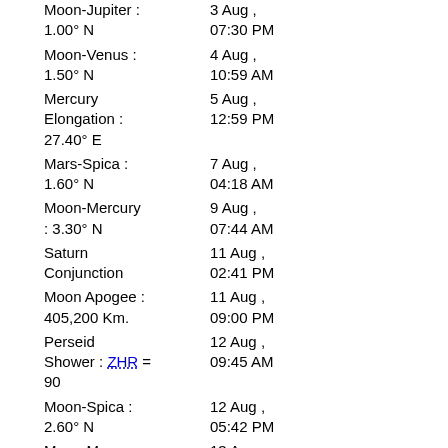Moon-Jupiter : 3 Aug , 1.00° N 07:30 PM
Moon-Venus : 4 Aug , 1.50° N 10:59 AM
Mercury Elongation : 5 Aug , 12:59 PM 27.40° E
Mars-Spica : 7 Aug , 1.60° N 04:18 AM
Moon-Mercury : 3.30° N 9 Aug , 07:44 AM
Saturn Conjunction 11 Aug , 02:41 PM
Moon Apogee : 405,200 Km. 11 Aug , 09:00 PM
Perseid Shower : ZHR = 90 12 Aug , 09:45 AM
Moon-Spica : 2.60° N 12 Aug , 05:42 PM
Moon-Mars : 4.10° N 13 Aug , 02:00 AM
Venus-Pollux : 6.70° S 13 Aug , 07:58 AM
Moon South Dec. : 23.10° S 17 Aug , 03:50 AM
Moon 17 Aug ,